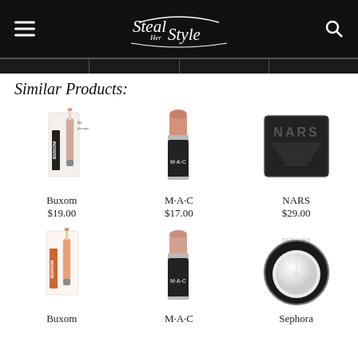Steal Her Style
Similar Products:
[Figure (photo): Buxom lip gloss product - lip plumper set with applicator and tube, nude/brown color]
Buxom
$19.00
[Figure (photo): M·A·C lipstick in nude/pink shade]
M·A·C
$17.00
[Figure (photo): NARS eyeshadow compact in dark/black geometric packaging]
NARS
$29.00
[Figure (photo): Buxom lip gloss product set - similar to first, lip plumper duo in orange/nude]
Buxom
[Figure (photo): M·A·C lipstick in nude/pink shade, similar to above]
M·A·C
[Figure (photo): Sephora eyeshadow compact - silver/white shimmer pressed powder in round black case]
Sephora